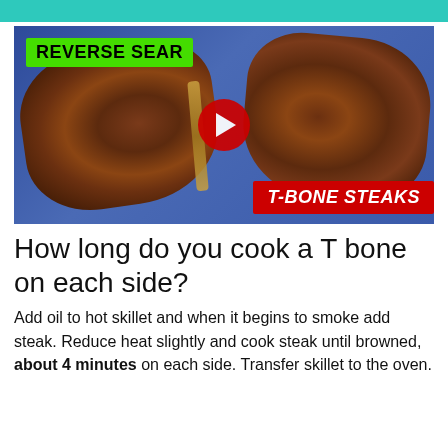[Figure (screenshot): YouTube video thumbnail showing two grilled T-bone steaks on a blue surface. Green label 'REVERSE SEAR' in top left, red label 'T-BONE STEAKS' in bottom right, red YouTube play button in center.]
How long do you cook a T bone on each side?
Add oil to hot skillet and when it begins to smoke add steak. Reduce heat slightly and cook steak until browned, about 4 minutes on each side. Transfer skillet to the oven.